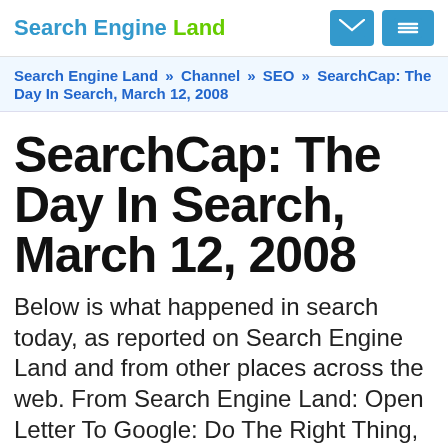Search Engine Land
Search Engine Land » Channel » SEO » SearchCap: The Day In Search, March 12, 2008
SearchCap: The Day In Search, March 12, 2008
Below is what happened in search today, as reported on Search Engine Land and from other places across the web. From Search Engine Land: Open Letter To Google: Do The Right Thing, Divest